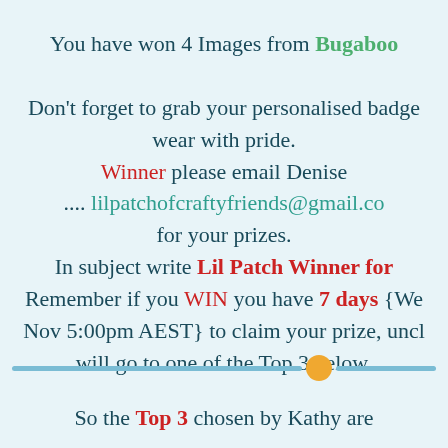You have won 4 Images from Bugaboo
Don't forget to grab your personalised badge wear with pride. Winner please email Denise .... lilpatchofcraftyfriends@gmail.co for your prizes. In subject write Lil Patch Winner for Remember if you WIN you have 7 days {We Nov 5:00pm AEST} to claim your prize, unch will go to one of the Top 3 below.
So the Top 3 chosen by Kathy are